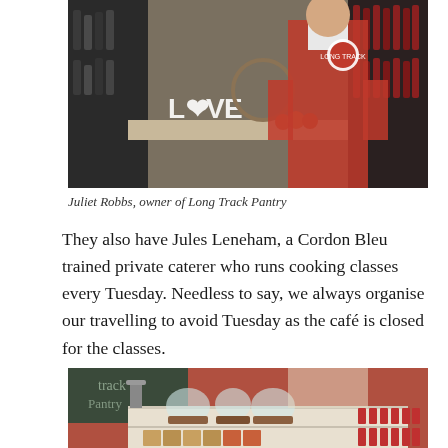[Figure (photo): Person wearing a red apron with Long Track Pantry logo standing behind a counter with fruits, decorative items including a 'LOVE' sign, and shelves of jarred products in the background.]
Juliet Robbs, owner of Long Track Pantry
They also have Jules Leneham, a Cordon Bleu trained private caterer who runs cooking classes every Tuesday. Needless to say, we always organise our travelling to avoid Tuesday as the café is closed for the classes.
[Figure (photo): Interior of Long Track Pantry showing a long counter/shelving unit with glass cloches, jars, bottles and packaged goods on display, with customers visible in the background.]